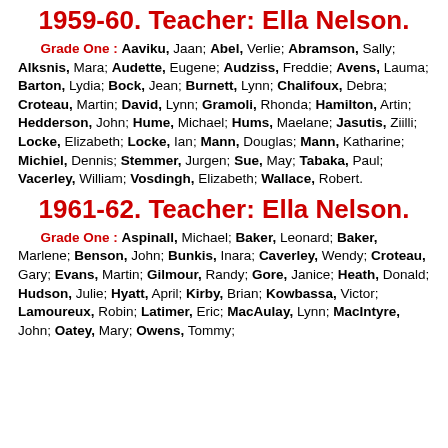1959-60. Teacher: Ella Nelson.
Grade One : Aaviku, Jaan; Abel, Verlie; Abramson, Sally; Alksnis, Mara; Audette, Eugene; Audziss, Freddie; Avens, Lauma; Barton, Lydia; Bock, Jean; Burnett, Lynn; Chalifoux, Debra; Croteau, Martin; David, Lynn; Gramoli, Rhonda; Hamilton, Artin; Hedderson, John; Hume, Michael; Hums, Maelane; Jasutis, Ziilli; Locke, Elizabeth; Locke, Ian; Mann, Douglas; Mann, Katharine; Michiel, Dennis; Stemmer, Jurgen; Sue, May; Tabaka, Paul; Vacerley, William; Vosdingh, Elizabeth; Wallace, Robert.
1961-62. Teacher: Ella Nelson.
Grade One : Aspinall, Michael; Baker, Leonard; Baker, Marlene; Benson, John; Bunkis, Inara; Caverley, Wendy; Croteau, Gary; Evans, Martin; Gilmour, Randy; Gore, Janice; Heath, Donald; Hudson, Julie; Hyatt, April; Kirby, Brian; Kowbassa, Victor; Lamoureux, Robin; Latimer, Eric; MacAulay, Lynn; MacIntyre, John; Oatey, Mary; Owens, Tommy;